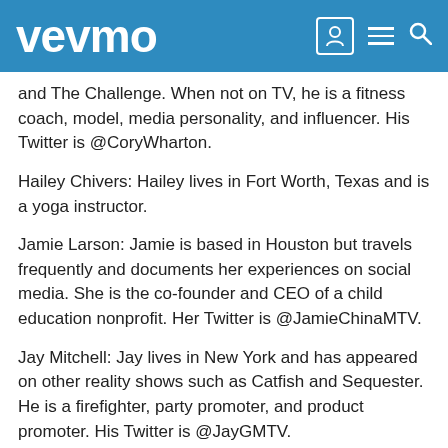vevmo
and The Challenge. When not on TV, he is a fitness coach, model, media personality, and influencer. His Twitter is @CoryWharton.
Hailey Chivers: Hailey lives in Fort Worth, Texas and is a yoga instructor.
Jamie Larson: Jamie is based in Houston but travels frequently and documents her experiences on social media. She is the co-founder and CEO of a child education nonprofit. Her Twitter is @JamieChinaMTV.
Jay Mitchell: Jay lives in New York and has appeared on other reality shows such as Catfish and Sequester. He is a firefighter, party promoter, and product promoter. His Twitter is @JayGMTV.